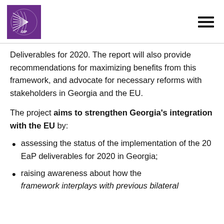GIP logo and navigation menu
Deliverables for 2020. The report will also provide recommendations for maximizing benefits from this framework, and advocate for necessary reforms with stakeholders in Georgia and the EU.
The project aims to strengthen Georgia's integration with the EU by:
assessing the status of the implementation of the 20 EaP deliverables for 2020 in Georgia;
raising awareness about how the framework interplays with previous bilateral...